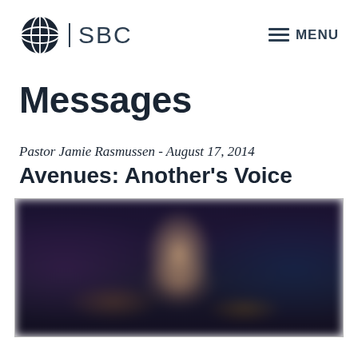SBC | MENU
Messages
Pastor Jamie Rasmussen - August 17, 2014
Avenues: Another's Voice
[Figure (photo): Blurred dark photo of a person on a stage, likely a pastor speaking, with blue and purple ambient lighting in the background.]